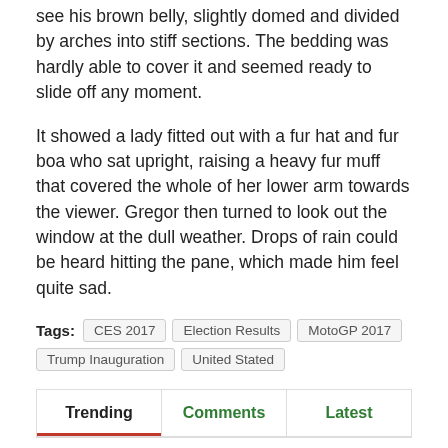see his brown belly, slightly domed and divided by arches into stiff sections. The bedding was hardly able to cover it and seemed ready to slide off any moment.
It showed a lady fitted out with a fur hat and fur boa who sat upright, raising a heavy fur muff that covered the whole of her lower arm towards the viewer. Gregor then turned to look out the window at the dull weather. Drops of rain could be heard hitting the pane, which made him feel quite sad.
Tags: CES 2017  Election Results  MotoGP 2017  Trump Inauguration  United Stated
Trending | Comments | Latest
ES-230: Contek apresenta ações para início das obras